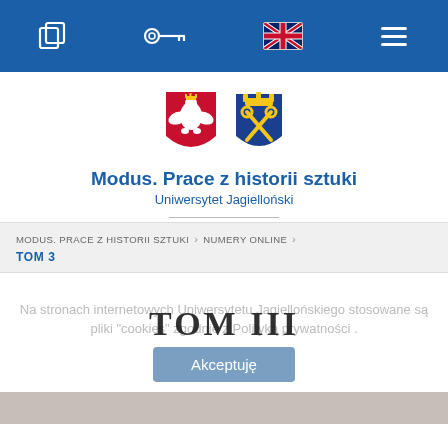Navigation bar with icons: copy, key, UK flag, menu
[Figure (logo): Polish national eagle coat of arms (red shield with white eagle) and Krakow city coat of arms (blue shield with golden crown and crossed keys)]
Modus. Prace z historii sztuki
Uniwersytet Jagielloński
MODUS. PRACE Z HISTORII SZTUKI > NUMERY ONLINE > TOM 3
Na stronach internetowych Uniwersytetu Jagiellońskiego stosowane są pliki "cookies" zgodnie z Polityką prywatności .
TOM III
Akceptuję